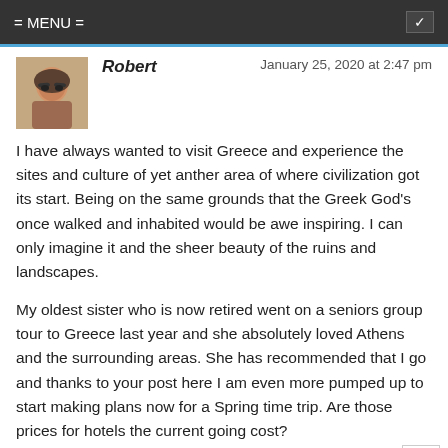= MENU =
Robert
January 25, 2020 at 2:47 pm

I have always wanted to visit Greece and experience the sites and culture of yet anther area of where civilization got its start. Being on the same grounds that the Greek God's once walked and inhabited would be awe inspiring. I can only imagine it and the sheer beauty of the ruins and landscapes.

My oldest sister who is now retired went on a seniors group tour to Greece last year and she absolutely loved Athens and the surrounding areas. She has recommended that I go and thanks to your post here I am even more pumped up to start making plans now for a Spring time trip. Are those prices for hotels the current going cost?
Reply ↓
Leahrae (Post author)